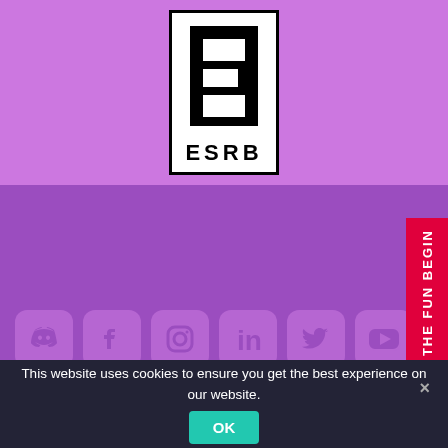[Figure (logo): ESRB Everyone (E) rating logo — white box with black border, large black E letter, 'ESRB' text beneath, on purple background]
[Figure (infographic): Row of social media icons (Discord, Facebook, Instagram, LinkedIn, Twitter, YouTube, TikTok) on dark purple background, with red vertical CTA button on right reading 'LET THE FUN BEGIN']
This website uses cookies to ensure you get the best experience on our website.
OK